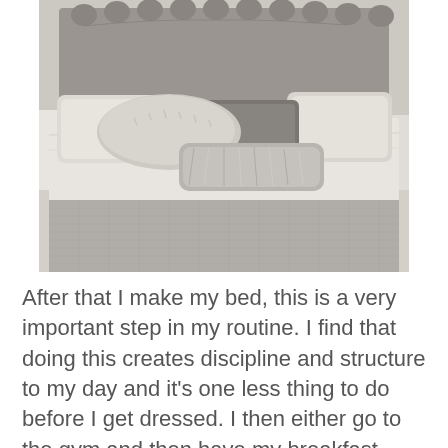[Figure (photo): A neatly made bed with a tufted grey velvet headboard, multiple decorative pillows including large cream/ivory pillows, a dark rectangular pillow, a fluffy fur-texture cream pillow, and a small silver crushed velvet bolster pillow. The bed has crisp white bedding and a grey textured blanket/throw at the foot.]
After that I make my bed, this is a very important step in my routine. I find that doing this creates discipline and structure to my day and it's one less thing to do before I get dressed. I then either go to the gym and then have my breakfast afterwards or if I don't go to